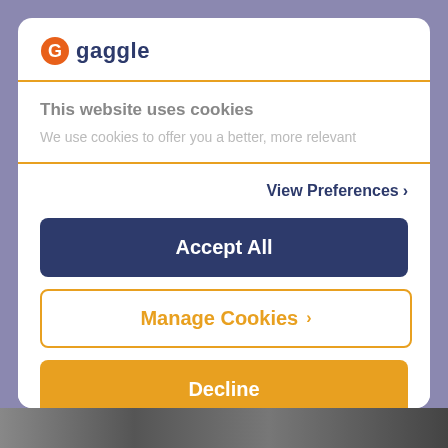[Figure (logo): Gaggle logo with orange G icon and dark blue 'gaggle' text]
This website uses cookies
We use cookies to offer you a better, more relevant
View Preferences >
Accept All
Manage Cookies >
Decline
Powered by Cookiebot by Usercentrics